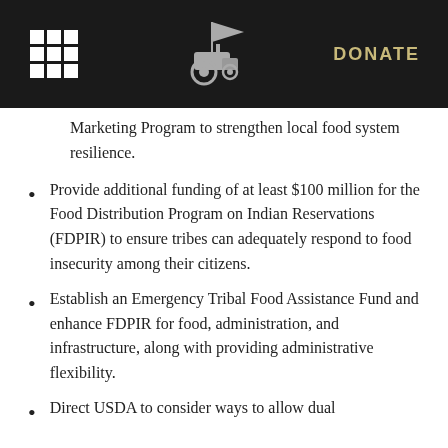DONATE
Marketing Program to strengthen local food system resilience.
Provide additional funding of at least $100 million for the Food Distribution Program on Indian Reservations (FDPIR) to ensure tribes can adequately respond to food insecurity among their citizens.
Establish an Emergency Tribal Food Assistance Fund and enhance FDPIR for food, administration, and infrastructure, along with providing administrative flexibility.
Direct USDA to consider ways to allow dual